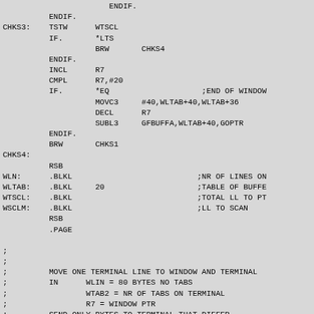Assembly source code listing with labels CHKS3, CHKS4, WLN, WLTAB, WTSCL, WSCLM and comment lines describing MOVE ONE TERMINAL LINE TO WINDOW AND TERMINAL